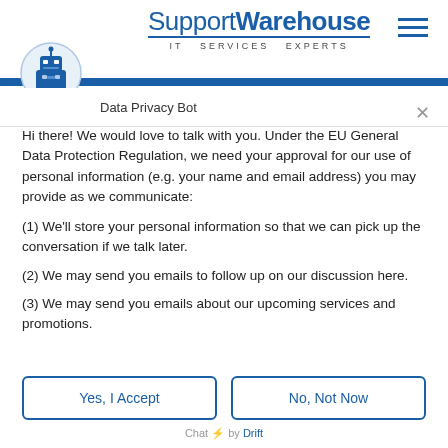[Figure (logo): SupportWarehouse IT Services Experts logo with blue text and underline]
[Figure (illustration): Robot/bot icon in blue circle for Data Privacy Bot]
Data Privacy Bot
Hi there! We would love to talk with you. Under the EU General Data Protection Regulation, we need your approval for our use of personal information (e.g. your name and email address) you may provide as we communicate:
(1) We'll store your personal information so that we can pick up the conversation if we talk later.
(2) We may send you emails to follow up on our discussion here.
(3) We may send you emails about our upcoming services and promotions.
Yes, I Accept
No, Not Now
Chat ⚡ by Drift